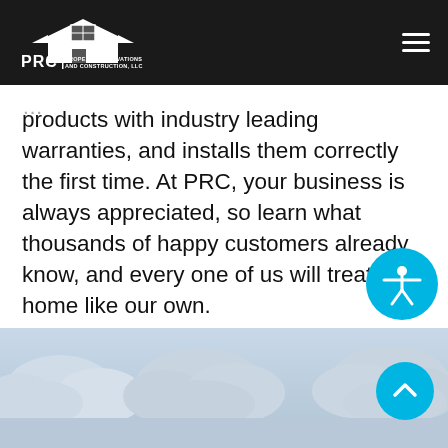[Figure (logo): PRC Property Renovations and Construction LLC logo — white house/roof icon above PRC text on black background]
products with industry leading warranties, and installs them correctly the first time. At PRC, your business is always appreciated, so learn what thousands of happy customers already know, and every one of us will treat your home like our own.
CONTACT US
[Figure (illustration): Decorative cloud/sky illustration forming the footer background — grey and light blue clouds on a gradient sky]